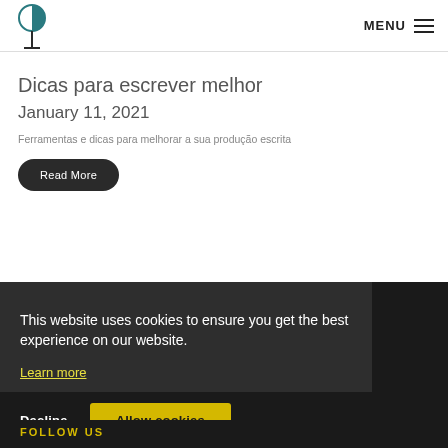MENU
Dicas para escrever melhor
January 11, 2021
Ferramentas e dicas para melhorar a sua produção escrita
Read More
This website uses cookies to ensure you get the best experience on our website. Learn more
Decline
Allow cookies
FOLLOW US